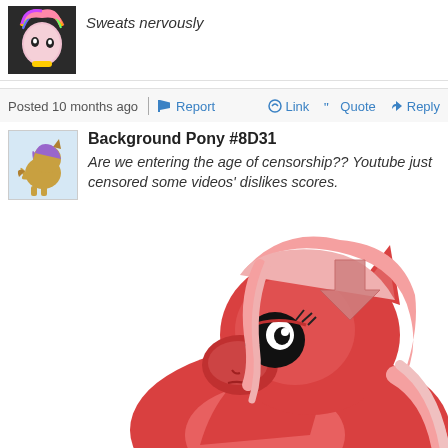Sweats nervously
Posted 10 months ago   Report   Link   Quote   Reply
Background Pony #8D31
Are we entering the age of censorship?? Youtube just censored some videos' dislikes scores.
[Figure (illustration): A sad red pony character with pink hair and a downvote arrow symbol, looking dejected]